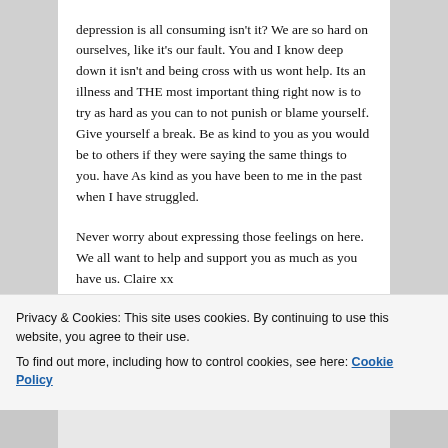depression is all consuming isn't it? We are so hard on ourselves, like it's our fault. You and I know deep down it isn't and being cross with us wont help. Its an illness and THE most important thing right now is to try as hard as you can to not punish or blame yourself. Give yourself a break. Be as kind to you as you would be to others if they were saying the same things to you. have As kind as you have been to me in the past when I have struggled.
Never worry about expressing those feelings on here. We all want to help and support you as much as you have us. Claire xx
★ Liked by 1 person
Privacy & Cookies: This site uses cookies. By continuing to use this website, you agree to their use.
To find out more, including how to control cookies, see here: Cookie Policy
Close and accept